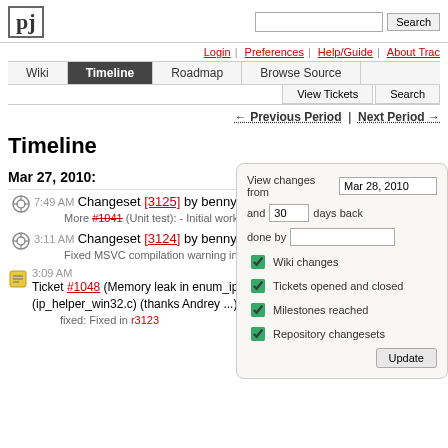[Figure (logo): pj logo in a bordered box]
Login | Preferences | Help/Guide | About Trac
Wiki | Timeline | Roadmap | Browse Source | View Tickets | Search
← Previous Period | Next Period →
Timeline
Mar 27, 2010:
7:49 AM Changeset [3125] by bennylp — More #1041 (Unit test): - Initial work for Symbian targets
3:11 AM Changeset [3124] by bennylp — Fixed MSVC compilation warning introduced by ticket #1046
3:09 AM Ticket #1048 (Memory leak in enum_ipv4_ipv6_interface (ip_helper_win32.c) (thanks Andrey ...) closed by bennylp — fixed: Fixed in r3123
View changes from Mar 28, 2010 and 30 days back done by [Wiki changes checked] [Tickets opened and closed checked] [Milestones reached checked] [Repository changesets checked] Update